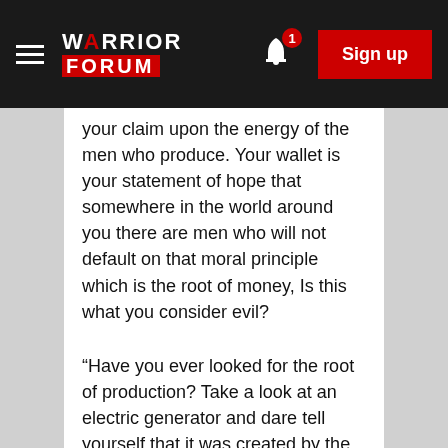WARRIOR FORUM — Sign up
your claim upon the energy of the men who produce. Your wallet is your statement of hope that somewhere in the world around you there are men who will not default on that moral principle which is the root of money, Is this what you consider evil?
“Have you ever looked for the root of production? Take a look at an electric generator and dare tell yourself that it was created by the muscular effort of unthinking brutes. Try to grow a seed of wheat without